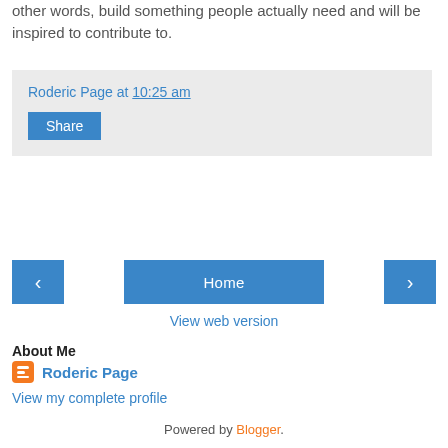other words, build something people actually need and will be inspired to contribute to.
Roderic Page at 10:25 am
Share
Home
View web version
About Me
Roderic Page
View my complete profile
Powered by Blogger.